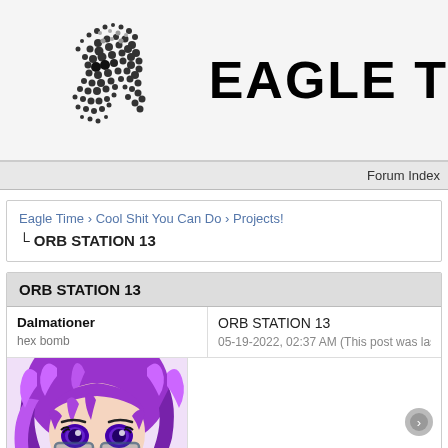[Figure (logo): Eagle Time forum logo with pixelated/halftone eagle head graphic and bold text 'EAGLE T' (truncated)]
Forum Index
Eagle Time › Cool Shit You Can Do › Projects!
└ ORB STATION 13
ORB STATION 13
Dalmationer
hex bomb
ORB STATION 13
05-19-2022, 02:37 AM (This post was last m
[Figure (illustration): Anime-style avatar of a character with purple hair and purple eyes wearing dark clothing/glasses, close-up face view]